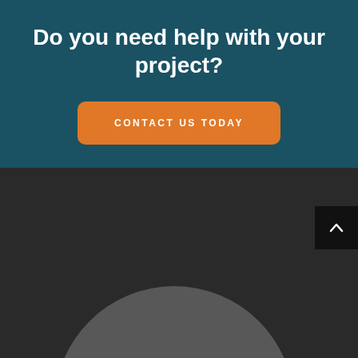Do you need help with your project?
CONTACT US TODAY
[Figure (illustration): Dark bottom section with a circular avatar placeholder (top half of a circle visible) and a back-to-top arrow button in the bottom right corner]